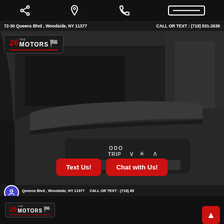[share icon] [location icon] [phone icon] [menu icon]
72-30 Queens Blvd , Woodside, NY 11377   CALL OR TEXT : (718) 831-2636
[Figure (photo): Car interior photo showing steering column area with ODO/TRIP buttons and controls. 26 Motors logo overlay in top-left corner. Red CTA buttons 'Text Us!' and 'Chat with Us!' overlaid at bottom.]
72-30 Queens Blvd , Woodside, NY 11377   CALL OR TEXT : (718) 83...
[Figure (logo): 26 Motors logo at bottom strip]